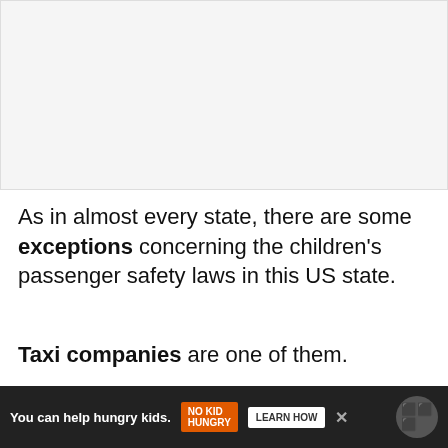[Figure (other): Light gray image placeholder area at the top of the page]
As in almost every state, there are some exceptions concerning the children's passenger safety laws in this US state.
Taxi companies are one of them.
Since you can find in the law, taxis are those who do not have to obey the regulations and us
[Figure (other): Advertisement banner at bottom: orange background with 'You can help hungry kids.' text, No Kid Hungry logo, and LEARN HOW button]